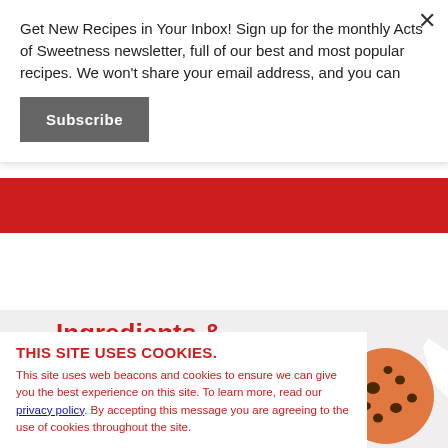Get New Recipes in Your Inbox! Sign up for the monthly Acts of Sweetness newsletter, full of our best and most popular recipes. We won't share your email address, and you can
Subscribe
[Figure (other): Red horizontal banner strip]
Ingredients & Equipment
THIS SITE USES COOKIES. This site uses web beacons and cookies to ensure we can give you the best experience on this site. To learn more, read our privacy policy. By accepting this message you are agreeing to the use of cookies throughout the site.
[Figure (illustration): Cookie illustration - an orange/brown bitten cookie with dark chocolate chips]